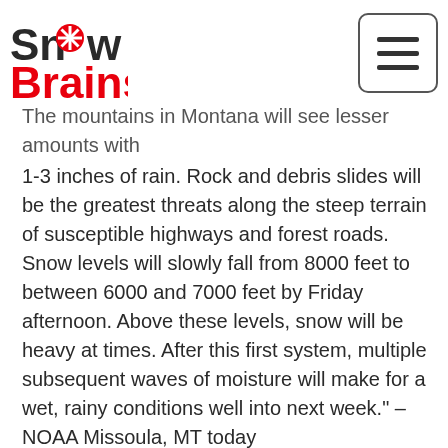Snow Brains
The mountains in Montana will see lesser amounts with 1-3 inches of rain. Rock and debris slides will be the greatest threats along the steep terrain of susceptible highways and forest roads. Snow levels will slowly fall from 8000 feet to between 6000 and 7000 feet by Friday afternoon. Above these levels, snow will be heavy at times. After this first system, multiple subsequent waves of moisture will make for a wet, rainy conditions well into next week." – NOAA Missoula, MT today
WYOMING: